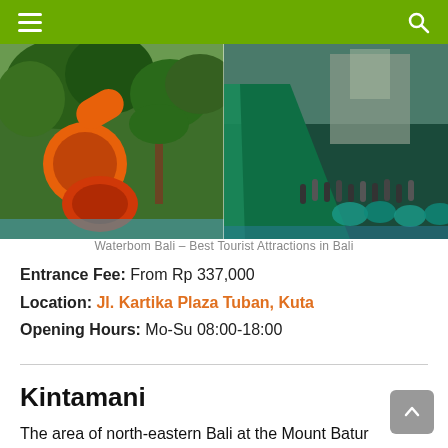Navigation header with hamburger menu and search icon
[Figure (photo): Water park slides at Waterbom Bali showing orange and red water slides on the left with tropical greenery, and a large green slide with people queuing on the right]
Waterbom Bali – Best Tourist Attractions in Bali
Entrance Fee: From Rp 337,000
Location: Jl. Kartika Plaza Tuban, Kuta
Opening Hours: Mo-Su 08:00-18:00
Kintamani
The area of north-eastern Bali at the Mount Batur